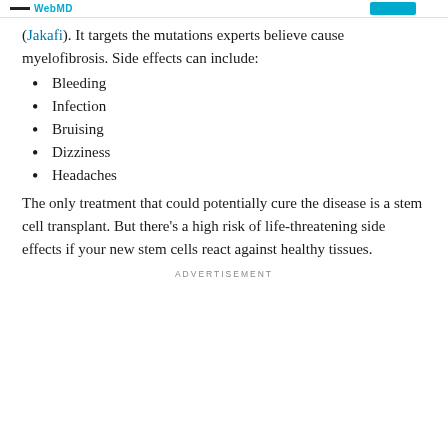WebMD
(Jakafi). It targets the mutations experts believe cause myelofibrosis. Side effects can include:
Bleeding
Infection
Bruising
Dizziness
Headaches
The only treatment that could potentially cure the disease is a stem cell transplant. But there's a high risk of life-threatening side effects if your new stem cells react against healthy tissues.
ADVERTISEMENT